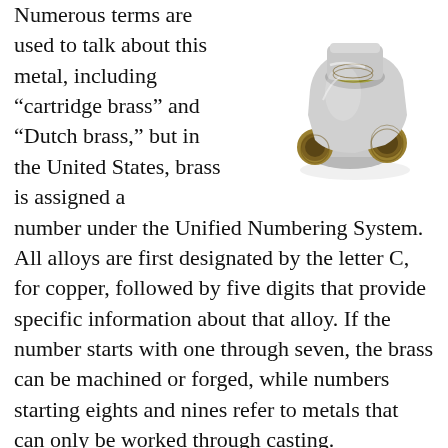[Figure (photo): A brass pipe fitting (elbow/tee connector) with nickel-plated silver exterior and gold-colored brass threaded openings, shown at an angle against a white background.]
Numerous terms are used to talk about this metal, including “cartridge brass” and "Dutch brass," but in the United States, brass is assigned a number under the Unified Numbering System. All alloys are first designated by the letter C, for copper, followed by five digits that provide specific information about that alloy. If the number starts with one through seven, the brass can be machined or forged, while numbers starting eights and nines refer to metals that can only be worked through casting.